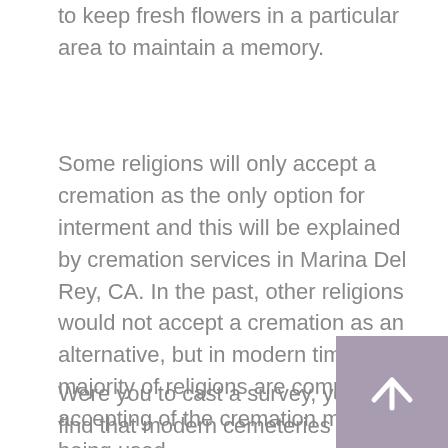to keep fresh flowers in a particular area to maintain a memory.
Some religions will only accept a cremation as the only option for interment and this will be explained by cremation services in Marina Del Rey, CA. In the past, other religions would not accept a cremation as an alternative, but in modern times, the majority of religions are completely accepting of the cremation method being used.
Were you to cast a survey, you would find that modern cemeteries are regarded as extremely sterile and lacking of great character and if you live in a colder area, a grave is a difficult place to visit because of the weather, especially the snow and even more so in a northern state. This explains why many people look at the Marina Del